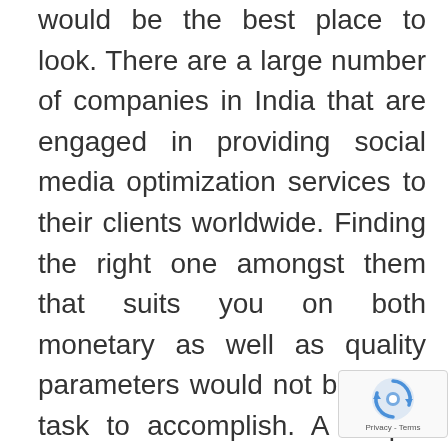would be the best place to look. There are a large number of companies in India that are engaged in providing social media optimization services to their clients worldwide. Finding the right one amongst them that suits you on both monetary as well as quality parameters would not be a big task to accomplish. A simple search on the net after clicking best SEO Company in India would do the trick. It will bring in front of you a big list of the best companies of this domain that are known for impressive reputation and outstanding works. But before selecting anyone amongst them, there are some points that should be paid attention to. These are as follows: Packages: Every organization have different target audience and hence require different approach to market their products. A good SEO India Company craft various types of
[Figure (logo): reCAPTCHA badge with rotating arrows logo and Privacy - Terms text]